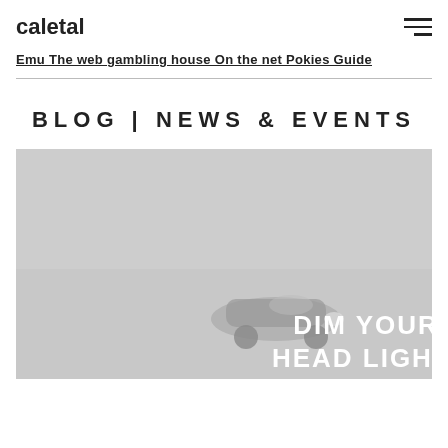caletal
Emu The web gambling house On the net Pokies Guide
BLOG | NEWS & EVENTS
[Figure (photo): Grayscale image of a car with text overlay reading 'DIM YOUR HEAD LIGHTS']